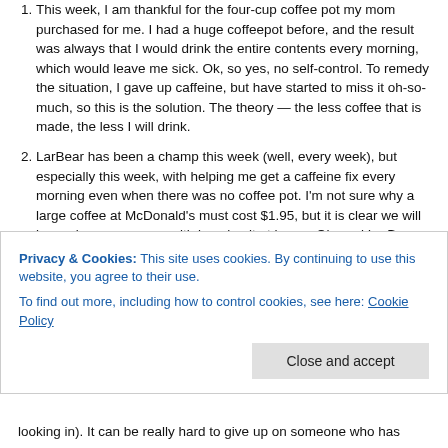This week, I am thankful for the four-cup coffee pot my mom purchased for me. I had a huge coffeepot before, and the result was always that I would drink the entire contents every morning, which would leave me sick. Ok, so yes, no self-control. To remedy the situation, I gave up caffeine, but have started to miss it oh-so-much, so this is the solution. The theory — the less coffee that is made, the less I will drink.
LarBear has been a champ this week (well, every week), but especially this week, with helping me get a caffeine fix every morning even when there was no coffee pot. I'm not sure why a large coffee at McDonald's must cost $1.95, but it is clear we will be saving money now with brewing it at home. Oh, and LarBear can avoid going out in 25 degree weather, all for the sake of a cup of coffee. I think he will appreciate that!
The very small mouse problem that started a couple weeks ago in my basement (this is what happens when you live in the country),
Privacy & Cookies: This site uses cookies. By continuing to use this website, you agree to their use.
To find out more, including how to control cookies, see here: Cookie Policy
looking in). It can be really hard to give up on someone who has